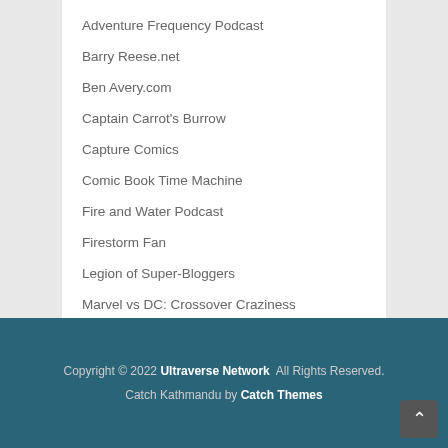Adventure Frequency Podcast
Barry Reese.net
Ben Avery.com
Captain Carrot's Burrow
Capture Comics
Comic Book Time Machine
Fire and Water Podcast
Firestorm Fan
Legion of Super-Bloggers
Marvel vs DC: Crossover Craziness
Strangers and Aliens
Welcome to Level Seven Podcast
Copyright © 2022 Ultraverse Network  All Rights Reserved.
Catch Kathmandu by Catch Themes